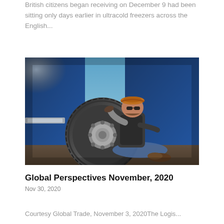British citizens began receiving on December 9 had been sitting only days earlier in ultracold freezers across the English...
[Figure (photo): A truck driver sitting on the ground leaning against a large blue truck tire, wearing sunglasses, a cap, jeans, and boots, shielding his eyes with one hand.]
Global Perspectives November, 2020
Nov 30, 2020
Courtesy Global Trade, November 3, 2020The Logis...